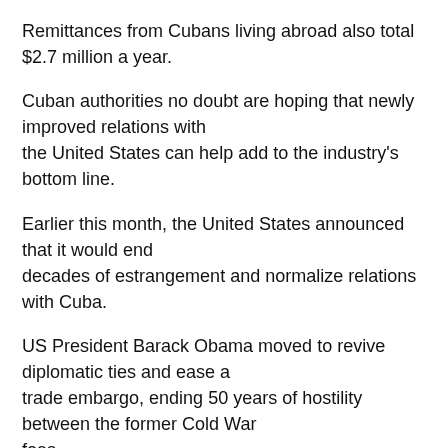Remittances from Cubans living abroad also total $2.7 million a year.
Cuban authorities no doubt are hoping that newly improved relations with the United States can help add to the industry's bottom line.
Earlier this month, the United States announced that it would end decades of estrangement and normalize relations with Cuba.
US President Barack Obama moved to revive diplomatic ties and ease a trade embargo, ending 50 years of hostility between the former Cold War foes.
But at the moment, US travelers face a de facto travel ban unless they are on specially-organized and -licensed cultural exchange tours.